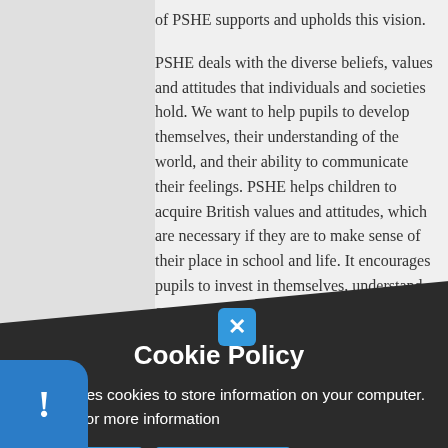of PSHE supports and upholds this vision.
PSHE deals with the diverse beliefs, values and attitudes that individuals and societies hold. We want to help pupils to develop themselves, their understanding of the world, and their ability to communicate their feelings. PSHE helps children to acquire British values and attitudes, which are necessary if they are to make sense of their place in school and life. It encourages pupils to invest in themselves, understand expectations, develop responsibility, trust relationships and believe in.
Through PSHE, we believe we can enhance children's education and help them become
[Figure (screenshot): Cookie Policy popup overlay with dark background. Title reads 'Cookie Policy'. Body text: 'This site uses cookies to store information on your computer. Click here for more information'. Two blue buttons: 'Allow Cookies' and 'Deny Cookies'. A blue X close button in the top area. A blue info badge with exclamation mark in the bottom left corner.]